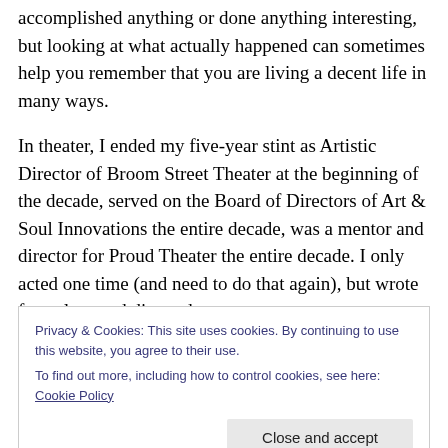accomplished anything or done anything interesting, but looking at what actually happened can sometimes help you remember that you are living a decent life in many ways.
In theater, I ended my five-year stint as Artistic Director of Broom Street Theater at the beginning of the decade, served on the Board of Directors of Art & Soul Innovations the entire decade, was a mentor and director for Proud Theater the entire decade. I only acted one time (and need to do that again), but wrote four plays and directed
Privacy & Cookies: This site uses cookies. By continuing to use this website, you agree to their use.
To find out more, including how to control cookies, see here: Cookie Policy
Close and accept
Single Bluebird" and wrote 335 blog posts with over